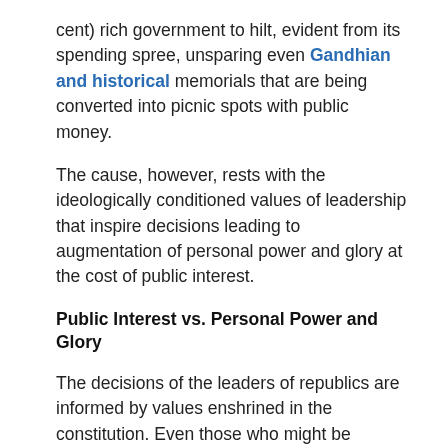cent) rich government to hilt, evident from its spending spree, unsparing even Gandhian and historical memorials that are being converted into picnic spots with public money.
The cause, however, rests with the ideologically conditioned values of leadership that inspire decisions leading to augmentation of personal power and glory at the cost of public interest.
Public Interest vs. Personal Power and Glory
The decisions of the leaders of republics are informed by values enshrined in the constitution. Even those who might be contemptuous to a sworn document, the value of the public good is inescapable therefore,